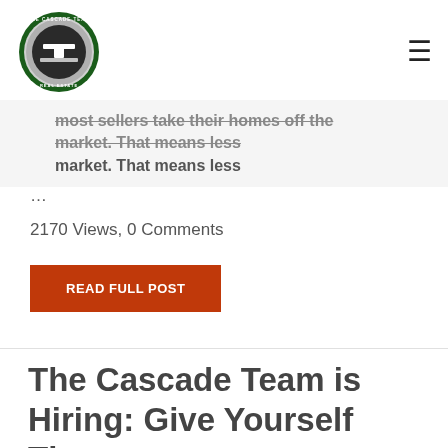The Cascade Team Real Estate — logo and navigation
most sellers take their homes off the market. That means less
…
2170 Views, 0 Comments
READ FULL POST
The Cascade Team is Hiring: Give Yourself The